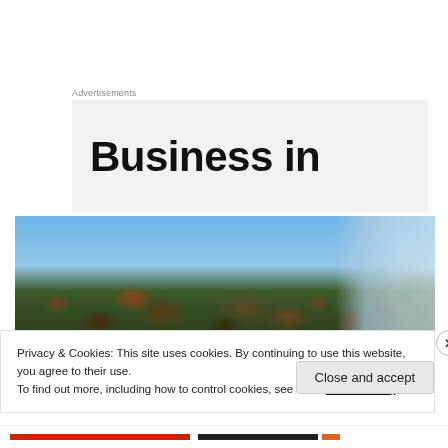Advertisements
Business in
[Figure (photo): Outdoor nature photo showing wilted/autumn leaves and foliage in the foreground with a greenhouse or glass structure visible in the background against a blue sky]
Privacy & Cookies: This site uses cookies. By continuing to use this website, you agree to their use.
To find out more, including how to control cookies, see here: Cookie Policy
Close and accept